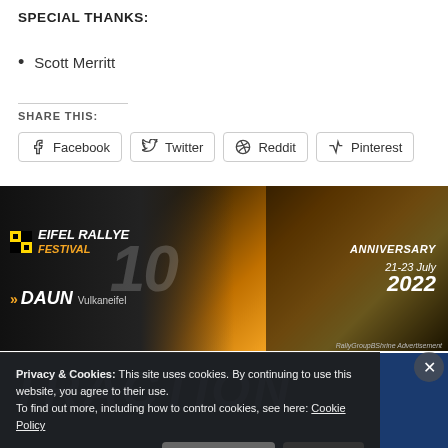SPECIAL THANKS:
Scott Merritt
SHARE THIS:
Facebook  Twitter  Reddit  Pinterest
[Figure (photo): Eifel Rallye Festival advertisement banner. 10th Anniversary, 21-23 July 2022, DAUN Vulkaneifel. RallyGroupBShrine Advertisement.]
[Figure (photo): TRACTION banner in blue]
Privacy & Cookies: This site uses cookies. By continuing to use this website, you agree to their use. To find out more, including how to control cookies, see here: Cookie Policy